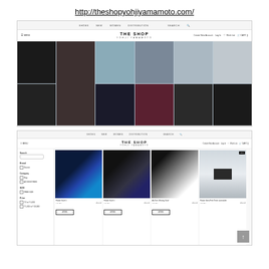http://theshopyohjiyamamoto.com/
[Figure (screenshot): Screenshot of THE SHOP YOHJI YAMAMOTO website homepage showing a fashion collage with multiple model photos in dark clothing]
[Figure (screenshot): Screenshot of THE SHOP YOHJI YAMAMOTO product listing page showing bags and accessories with sidebar filters for Brand, Category, Size, Price]